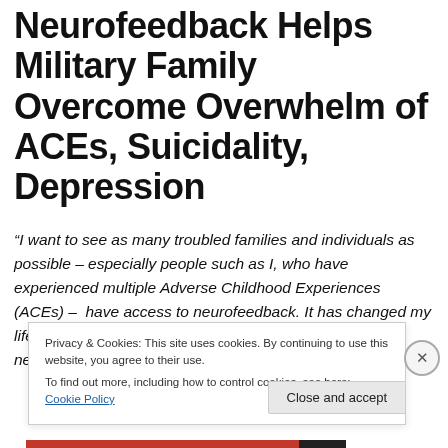Neurofeedback Helps Military Family Overcome Overwhelm of ACEs, Suicidality, Depression
“I want to see as many troubled families and individuals as possible – especially people such as I, who have experienced multiple Adverse Childhood Experiences (ACEs) – have access to neurofeedback. It has changed my life by changing my brain. I grew up in a horrific situation, never able to trust being safe. Stress would take
Privacy & Cookies: This site uses cookies. By continuing to use this website, you agree to their use.
To find out more, including how to control cookies, see here: Cookie Policy